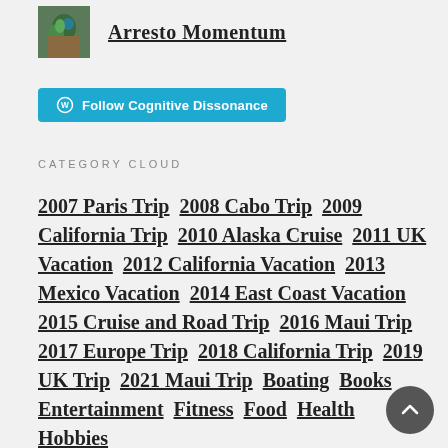Arresto Momentum
[Figure (logo): Small square logo image with green/teal illustrated art]
Follow Cognitive Dissonance
CATEGORY CLOUD
2007 Paris Trip  2008 Cabo Trip  2009 California Trip  2010 Alaska Cruise  2011 UK Vacation  2012 California Vacation  2013 Mexico Vacation  2014 East Coast Vacation  2015 Cruise and Road Trip  2016 Maui Trip  2017 Europe Trip  2018 California Trip  2019 UK Trip  2021 Maui Trip  Boating  Books  Entertainment  Fitness  Food  Health  Hobbies